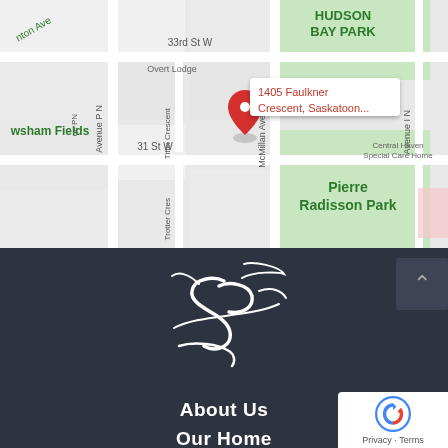[Figure (map): Google Maps screenshot showing the area around 1405 Faulkner Crescent, Saskatoon. Shows streets including 33rd St W, 31 St W, Avenue P N, Tiffin Crescent, McMillan Ave, Trotter Cres, and Avenue I N. Areas shown include Hudson Bay Park, Pierre Radisson Park (green area), Central Haven Special Care Home, and Newsham Fields. A red pin marker with popup label '1405 Faulkner Crescent, Saskatoon...' is displayed.]
[Figure (logo): White stylized script logo on dark background, resembling intertwined letters with flourishes, for what appears to be SP or similar initials with a heart motif.]
About Us
Our Home
Day Program